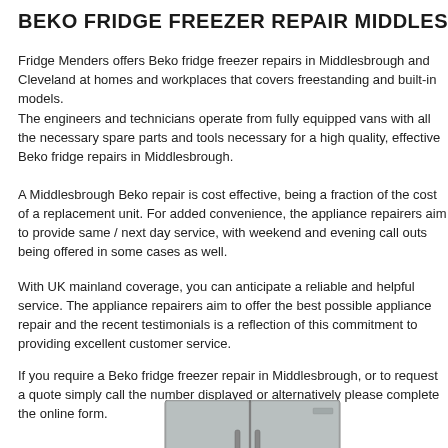BEKO FRIDGE FREEZER REPAIR MIDDLESBROUGH
Fridge Menders offers Beko fridge freezer repairs in Middlesbrough and Cleveland at homes and workplaces that covers freestanding and built-in models.
The engineers and technicians operate from fully equipped vans with all the necessary spare parts and tools necessary for a high quality, effective Beko fridge repairs in Middlesbrough.
A Middlesbrough Beko repair is cost effective, being a fraction of the cost of a replacement unit. For added convenience, the appliance repairers aim to provide same / next day service, with weekend and evening call outs being offered in some cases as well.
With UK mainland coverage, you can anticipate a reliable and helpful service. The appliance repairers aim to offer the best possible appliance repair and the recent testimonials is a reflection of this commitment to providing excellent customer service.
If you require a Beko fridge freezer repair in Middlesbrough, or to request a quote simply call the number displayed or alternatively please complete the online form.
[Figure (photo): A stainless steel Beko side-by-side fridge freezer with water dispenser on the left door]